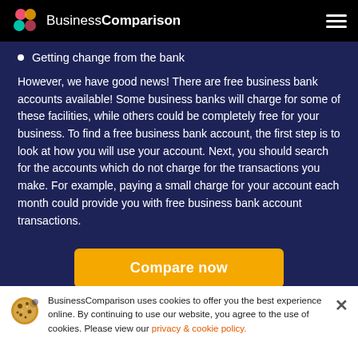BusinessComparison
Getting change from the bank
However, we have good news! There are free business bank accounts available! Some business banks will charge for some of these facilities, while others could be completely free for your business. To find a free business bank account, the first step is to look at how you will use your account. Next, you should search for the accounts which do not charge for the transactions you make. For example, paying a small charge for your account each month could provide you with free business bank account transactions.
Compare now
BusinessComparison uses cookies to offer you the best experience online. By continuing to use our website, you agree to the use of cookies. Please view our privacy & cookie policy.